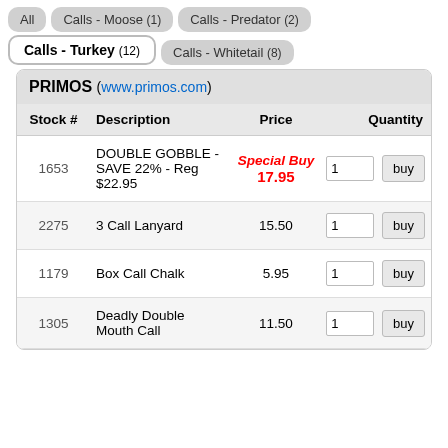All
Calls - Moose (1)
Calls - Predator (2)
Calls - Turkey (12)
Calls - Whitetail (8)
PRIMOS (www.primos.com)
| Stock # | Description | Price | Quantity |
| --- | --- | --- | --- |
| 1653 | DOUBLE GOBBLE - SAVE 22% - Reg $22.95 | Special Buy 17.95 | 1 buy |
| 2275 | 3 Call Lanyard | 15.50 | 1 buy |
| 1179 | Box Call Chalk | 5.95 | 1 buy |
| 1305 | Deadly Double Mouth Call | 11.50 | 1 buy |